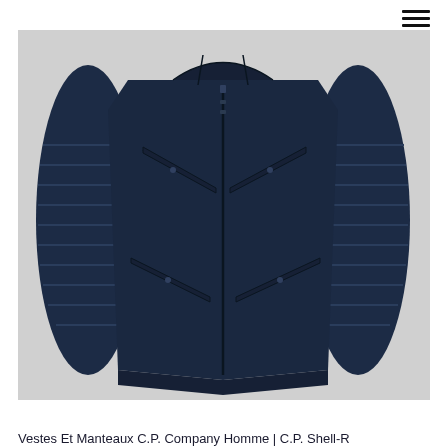[Figure (photo): Navy blue C.P. Company Shell-R mixed material jacket with quilted sleeves and diagonal zip pockets on a light grey background]
Vestes Et Manteaux C.P. Company Homme | C.P. Shell-R